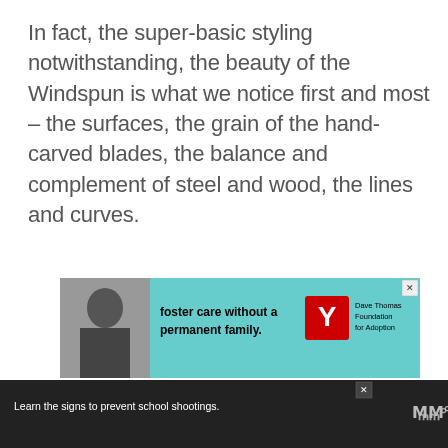In fact, the super-basic styling notwithstanding, the beauty of the Windspun is what we notice first and most – the surfaces, the grain of the hand-carved blades, the balance and complement of steel and wood, the lines and curves.
[Figure (infographic): Advertisement banner for Dave Thomas Foundation for Adoption with teal background, black and white photo of a person on left, bold text 'foster care without a permanent family.' and Dave Thomas Foundation logo on right.]
[Figure (infographic): Dark bottom banner advertisement for Sandy Hook Promise with text 'Learn the signs to prevent school shootings.' with Sandy Hook Promise logo and WW logo.]